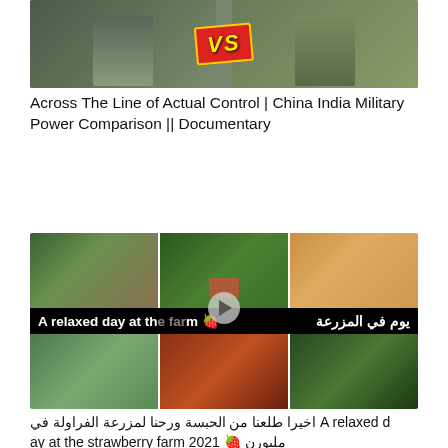[Figure (photo): YouTube thumbnail showing two military figures (Chinese and Indian soldiers) facing each other with a red VS badge in the center on a green/camo background]
Across The Line of Actual Control | China India Military Power Comparison || Documentary
[Figure (photo): YouTube thumbnail collage: top row shows children picking strawberries in a field and a woman in a yellow hijab in a car; center banner reads 'A relaxed day at the farm' in English and Arabic 'يوم في المزرعة'; bottom row shows a child lying down, a bowl of meat stew, and a decorative table setting]
A relaxed d اخيرا طلعنا من الحبسة ورحنا لمزرعة الفراولة في ay at the strawberry farm 2021 🍓 ملبورن
[Figure (photo): Partial thumbnails visible at the bottom: left shows red circular shape, right shows brown/orange diagonal shape]